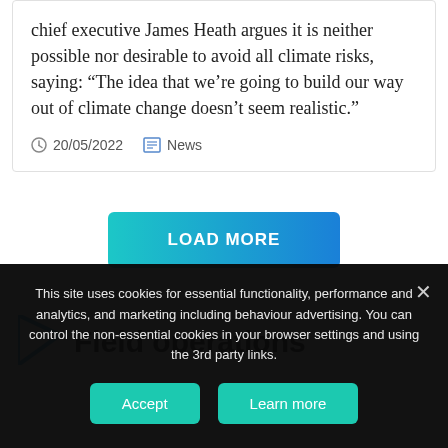chief executive James Heath argues it is neither possible nor desirable to avoid all climate risks, saying: “The idea that we’re going to build our way out of climate change doesn’t seem realistic.”
20/05/2022   News
LOAD MORE
Field operations
This site uses cookies for essential functionality, performance and analytics, and marketing including behaviour advertising. You can control the non-essential cookies in your browser settings and using the 3rd party links.
Accept   Learn more